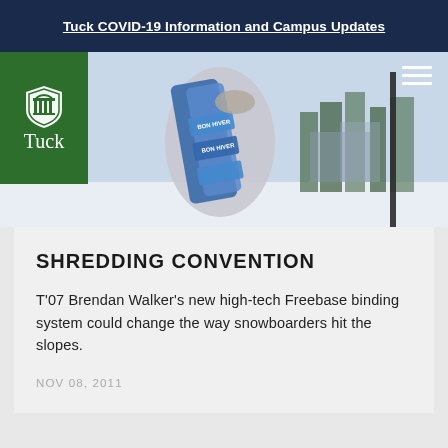Tuck COVID-19 Information and Campus Updates
[Figure (photo): Hero image of a person holding snowboards in snowy outdoor setting, with Tuck School of Business logo (shield icon with 'Tuck' text) on green background overlay, and hamburger menu icon top right]
SHREDDING CONVENTION
T’07 Brendan Walker’s new high-tech Freebase binding system could change the way snowboarders hit the slopes.
NOV 08, 2011